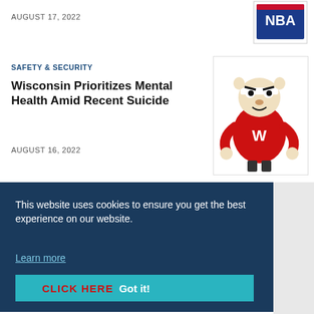AUGUST 17, 2022
[Figure (logo): NBA logo partially visible at top right]
SAFETY & SECURITY
Wisconsin Prioritizes Mental Health Amid Recent Suicide
AUGUST 16, 2022
[Figure (illustration): Wisconsin Badgers mascot Bucky Badger in red sweater with W logo]
This website uses cookies to ensure you get the best experience on our website.
Learn more
Got it!
CLICK HERE